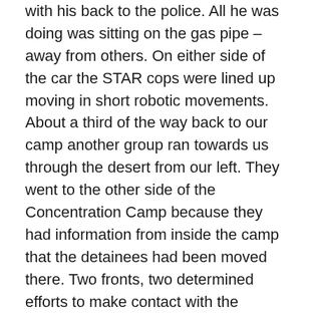with his back to the police. All he was doing was sitting on the gas pipe – away from others. On either side of the car the STAR cops were lined up moving in short robotic movements. About a third of the way back to our camp another group ran towards us through the desert from our left. They went to the other side of the Concentration Camp because they had information from inside the camp that the detainees had been moved there. Two fronts, two determined efforts to make contact with the refugees. The robocops chased them and they finally merged with our group uncaught. About half way up the hill we could just hear the Rock On Against Racism (ROAR) Concert. As we got closer the beats and the music got louder.
The next day we met back at the Sacred Fire where HOPE Caravan brought the FREEDOM / AZADI Gift for people to write their messages on. A decision was made to